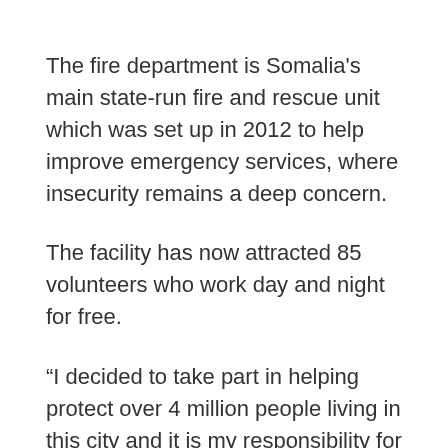The fire department is Somalia's main state-run fire and rescue unit which was set up in 2012 to help improve emergency services, where insecurity remains a deep concern.
The facility has now attracted 85 volunteers who work day and night for free.
“I decided to take part in helping protect over 4 million people living in this city and it is my responsibility for me to fight huge fires that happen in markets and elsewhere,” said one of the volunteers, Shafici Ali.
“We are on stand-by 24 hours a day, we work in difficult conditions. As you see we have only four fire fighter’s trucks working at the moment, and we are working in a city with